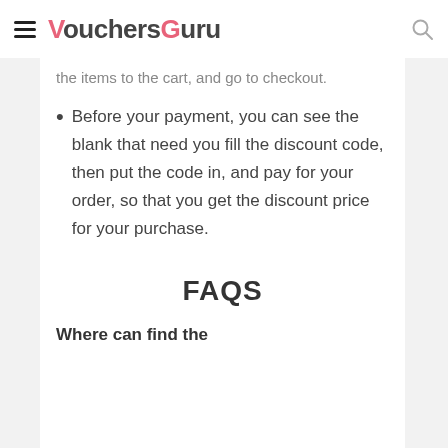VouchersGuru
the items to the cart, and go to checkout.
Before your payment, you can see the blank that need you fill the discount code, then put the code in, and pay for your order, so that you get the discount price for your purchase.
FAQS
Where can find the